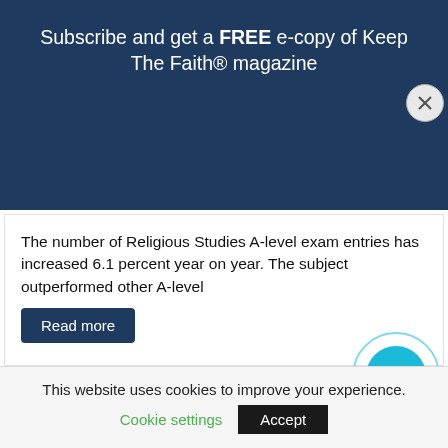Subscribe and get a FREE e-copy of Keep The Faith® magazine
Enter your email
Subscribe
The number of Religious Studies A-level exam entries has increased 6.1 percent year on year. The subject outperformed other A-level
Read more
[Figure (photo): Partial image strip showing a person, partially obscured by cookie bar overlay]
This website uses cookies to improve your experience.
Cookie settings
Accept